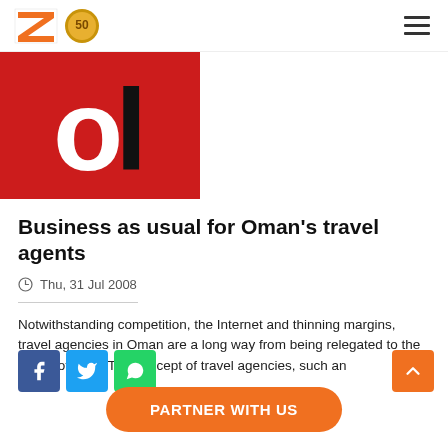Zawya logo and navigation
[Figure (logo): Article thumbnail image with large white letter O on red background and black letter L]
Business as usual for Oman's travel agents
Thu, 31 Jul 2008
Notwithstanding competition, the Internet and thinning margins, travel agencies in Oman are a long way from being relegated to the status of relics The concept of travel agencies, such an